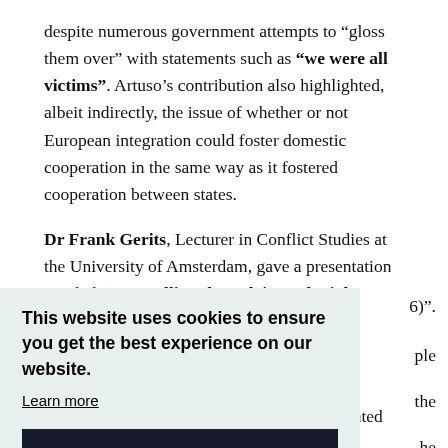despite numerous government attempts to “gloss them over” with statements such as “we were all victims”. Artuso’s contribution also highlighted, albeit indirectly, the issue of whether or not European integration could foster domestic cooperation in the same way as it fostered cooperation between states.
Dr Frank Gerits, Lecturer in Conflict Studies at the University of Amsterdam, gave a presentation entitled “Unravelling the Belgian colonial ideology: The Belgian
6)”.
ple
the
he
he
decolonisation of the 1960s. He also highlighted the